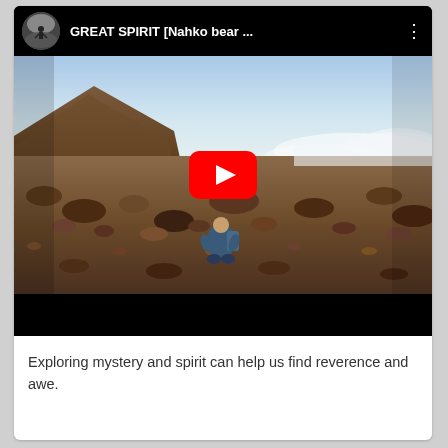[Figure (screenshot): YouTube video embed showing 'GREAT SPIRIT [Nahko bear ...' with a thumbnail of a person sitting on a rocky volcanic landscape under a blue sky with clouds, and a red YouTube play button overlay.]
Exploring mystery and spirit can help us find reverence and awe.